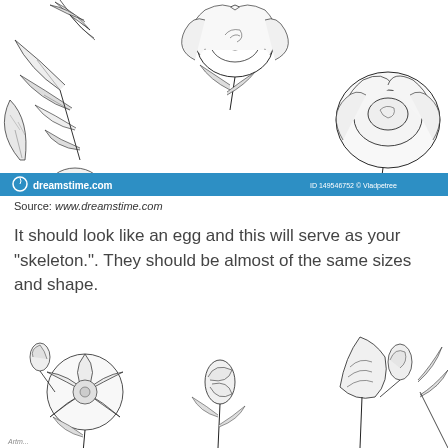[Figure (illustration): Black and white pen illustration of roses and floral motifs arranged as a decorative border/frame with dreamstime.com watermark bar at bottom]
Source: www.dreamstime.com
It should look like an egg and this will serve as your “skeleton.”. They should be almost of the same sizes and shape.
[Figure (illustration): Black and white pen illustration of wildflowers, rose buds and floral stems as a decorative border]